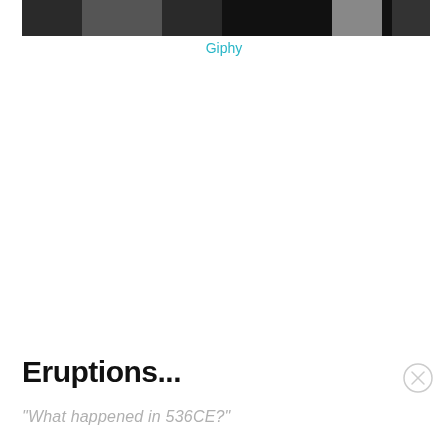[Figure (photo): Dark/black and white photo partially visible at the top of the page, cropped]
Giphy
Eruptions...
"What happened in 536CE?"